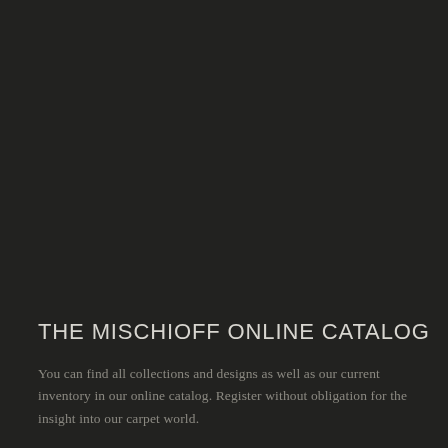THE MISCHIOFF ONLINE CATALOG
You can find all collections and designs as well as our current inventory in our online catalog. Register without obligation for the insight into our carpet world.